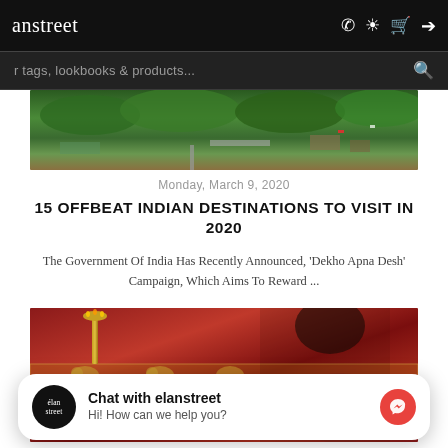anstreet
r tags, lookbooks & products...
[Figure (photo): Aerial view of a city with green trees and roads]
Monday, March 9, 2020
15 OFFBEAT INDIAN DESTINATIONS TO VISIT IN 2020
The Government Of India Has Recently Announced, 'Dekho Apna Desh' Campaign, Which Aims To Reward ...
[Figure (photo): Woman in Indian traditional attire (saree) seated against a red wall with elephant motifs and a brass lamp]
Chat with elanstreet
Hi! How can we help you?